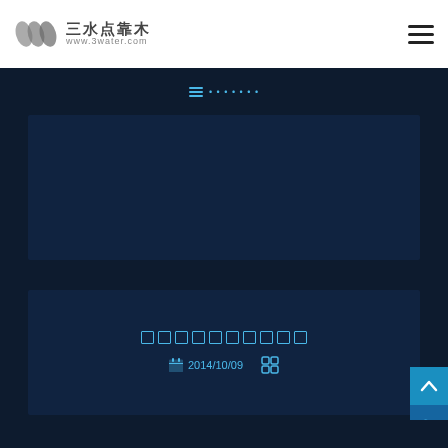三水点靠木 www.3water.com
[Figure (screenshot): Dark navy website screenshot showing article listing cards with Chinese text placeholders and date 2014/10/09]
□□□□□□□□□□
2014/10/09